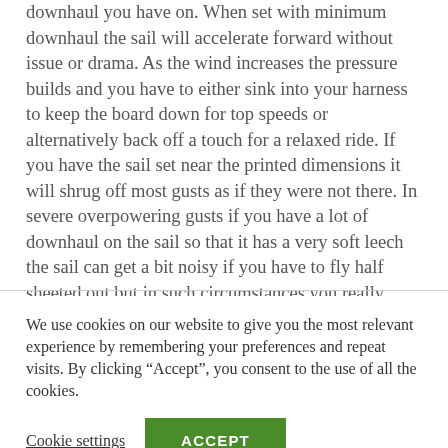downhaul you have on. When set with minimum downhaul the sail will accelerate forward without issue or drama. As the wind increases the pressure builds and you have to either sink into your harness to keep the board down for top speeds or alternatively back off a touch for a relaxed ride. If you have the sail set near the printed dimensions it will shrug off most gusts as if they were not there. In severe overpowering gusts if you have a lot of downhaul on the sail so that it has a very soft leech the sail can get a bit noisy if you have to fly half sheeted out but in such circumstances you really should be on a much smaller sail.
We use cookies on our website to give you the most relevant experience by remembering your preferences and repeat visits. By clicking “Accept”, you consent to the use of all the cookies.
Cookie settings
ACCEPT